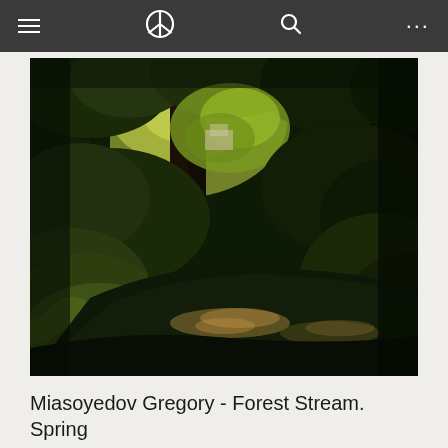Navigation bar with hamburger menu, peace symbol logo, search icon, and more options icon
[Figure (photo): Oil painting by Miasoyedov Gregory titled 'Forest Stream. Spring'. A dark, lush woodland scene with a calm stream winding through dense green forest. Sunlight filters through the canopy illuminating patches of bright green foliage and reflecting off the dark water. Large leafy plants fill the foreground, and a glimpse of a light-colored structure is visible in the sun-dappled background.]
Miasoyedov Gregory - Forest Stream. Spring